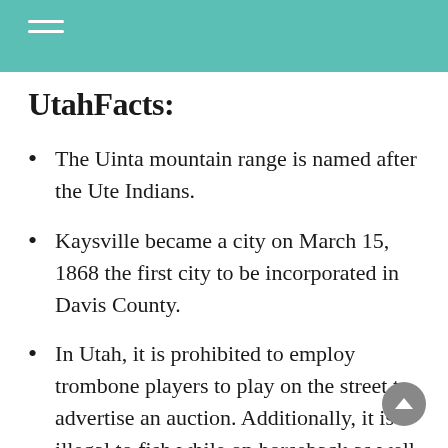UtahFacts:
The Uinta mountain range is named after the Ute Indians.
Kaysville became a city on March 15, 1868 the first city to be incorporated in Davis County.
In Utah, it is prohibited to employ trombone players to play on the street to advertise an auction. Additionally, it is illegal to fish while on horseback as well as to search whales. In Salt Lake City it is